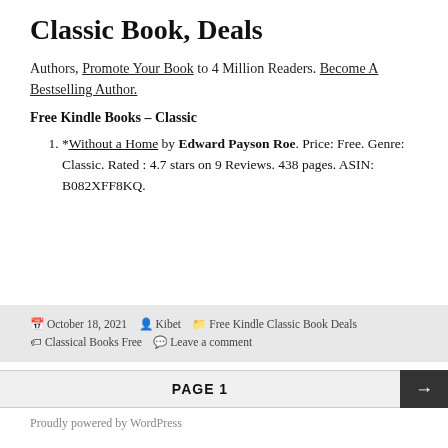Classic Book, Deals
Authors, Promote Your Book to 4 Million Readers. Become A Bestselling Author.
Free Kindle Books – Classic
*Without a Home by Edward Payson Roe. Price: Free. Genre: Classic. Rated : 4.7 stars on 9 Reviews. 438 pages. ASIN: B082XFF8KQ.
October 18, 2021  Kibet  Free Kindle Classic Book Deals  Classical Books Free  Leave a comment
PAGE 1
Proudly powered by WordPress